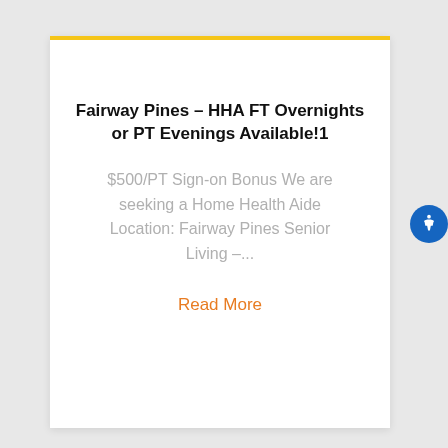Fairway Pines – HHA FT Overnights or PT Evenings Available!1
$500/PT Sign-on Bonus We are seeking a Home Health Aide Location: Fairway Pines Senior Living –...
Read More